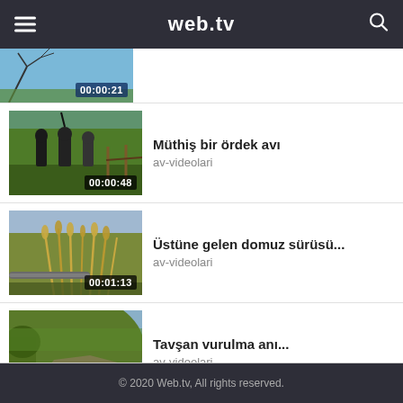web.tv
[Figure (screenshot): Partial video thumbnail (sky/branches) with duration 00:00:21]
[Figure (screenshot): Video thumbnail showing hunters walking through a field gate, duration 00:00:48]
Müthiş bir ördek avı
av-videolari
[Figure (screenshot): Video thumbnail showing wheat field with gun barrel, duration 00:01:13]
Üstüne gelen domuz sürüsü...
av-videolari
[Figure (screenshot): Video thumbnail showing countryside path/hill, duration 00:12:05]
Tavşan vurulma anı...
av-videolari
© 2020 Web.tv, All rights reserved.